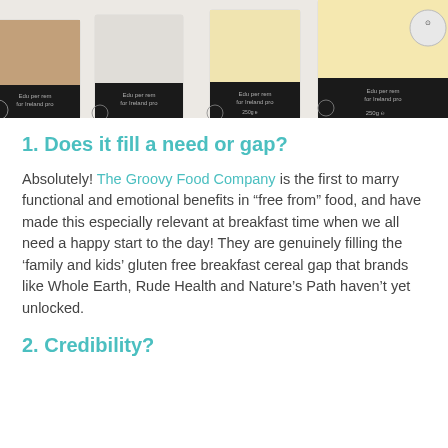[Figure (photo): Product photo showing multiple cereal boxes from The Groovy Food Company lined up, with dark bottom bands and light tops, partially cut off at the top of the image.]
1. Does it fill a need or gap?
Absolutely! The Groovy Food Company is the first to marry functional and emotional benefits in “free from” food, and have made this especially relevant at breakfast time when we all need a happy start to the day! They are genuinely filling the ‘family and kids’ gluten free breakfast cereal gap that brands like Whole Earth, Rude Health and Nature’s Path haven’t yet unlocked.
2. Credibility?